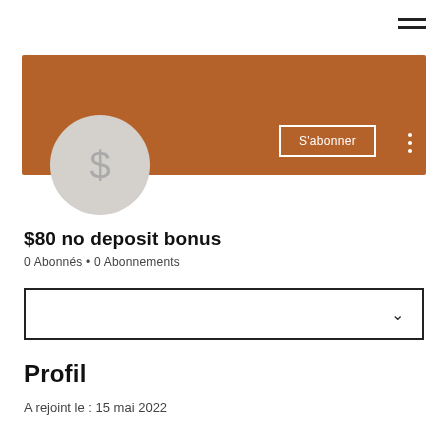[Figure (screenshot): Hamburger menu icon (three horizontal lines) in top right corner]
[Figure (photo): Brown/rust-colored profile banner background]
[Figure (other): Gray circular avatar with a dollar sign '$' symbol]
S'abonner
$80 no deposit bonus
0 Abonnés • 0 Abonnements
[Figure (other): Dropdown selector box with chevron/down arrow]
Profil
A rejoint le : 15 mai 2022